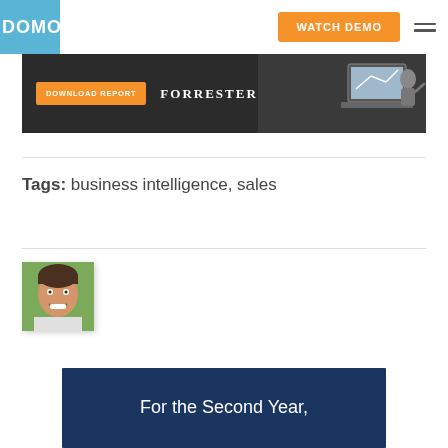DOMO | WATCH DEMO
[Figure (screenshot): Dark banner with orange Download Report button, Forrester logo text, and a laptop illustration on the right side]
Tags: business intelligence, sales
[Figure (photo): Author headshot: smiling young man outdoors with green background]
For the Second Year,